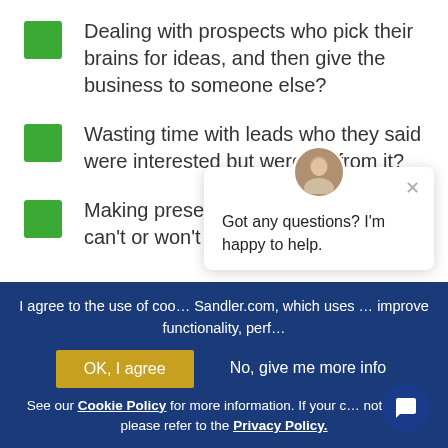Dealing with prospects who pick their brains for ideas, and then give the business to someone else?
Wasting time with leads who they said were interested but were far from it?
Making presentations to people who can't or won't make decisions?
I agree to the use of cookies on Sandler.com, which uses cookies to improve functionality, performance...
OK, I agree
No, give me more info
See our Cookie Policy for more information. If your country is not listed, please refer to the Privacy Policy.
Got any questions? I'm happy to help.